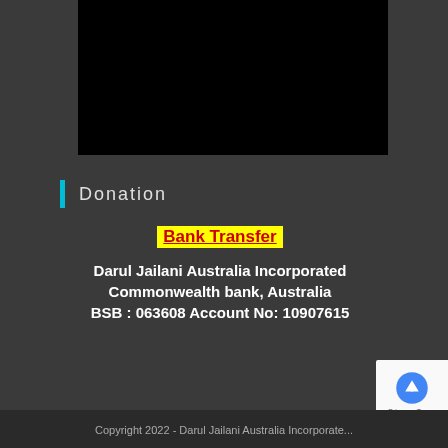[Figure (other): Black video/image placeholder rectangle at the top center of the page]
Donation
Bank Transfer
Darul Jailani Australia Incorporated
Commonwealth bank, Australia
BSB : 063608 Account No: 10907615
[Figure (other): reCAPTCHA privacy badge in the bottom right corner]
Copyright 2022 - Darul Jailani Australia Incorporate...